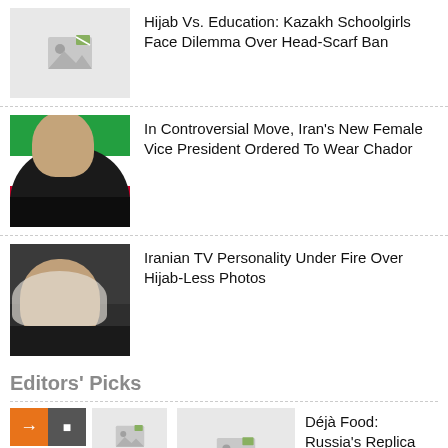[Figure (photo): Placeholder image with broken image icon]
Hijab Vs. Education: Kazakh Schoolgirls Face Dilemma Over Head-Scarf Ban
[Figure (photo): Woman in black hijab in front of Iranian flag]
In Controversial Move, Iran's New Female Vice President Ordered To Wear Chador
[Figure (photo): Woman in white hijab on phone]
Iranian TV Personality Under Fire Over Hijab-Less Photos
Editors' Picks
[Figure (photo): Navigation arrows and placeholder thumbnail]
Déjà Food: Russia's Replica Restaurant Brands